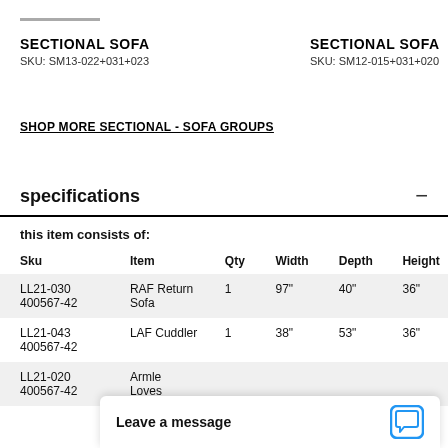SECTIONAL SOFA
SKU: SM13-022+031+023
SECTIONAL SOFA
SKU: SM12-015+031+020
SHOP MORE SECTIONAL - SOFA GROUPS
specifications
this item consists of:
| Sku | Item | Qty | Width | Depth | Height |
| --- | --- | --- | --- | --- | --- |
| LL21-030
400567-42 | RAF Return Sofa | 1 | 97" | 40" | 36" |
| LL21-043
400567-42 | LAF Cuddler | 1 | 38" | 53" | 36" |
| LL21-020
400567-42 | Armle...
Loves... |  |  |  |  |
Leave a message